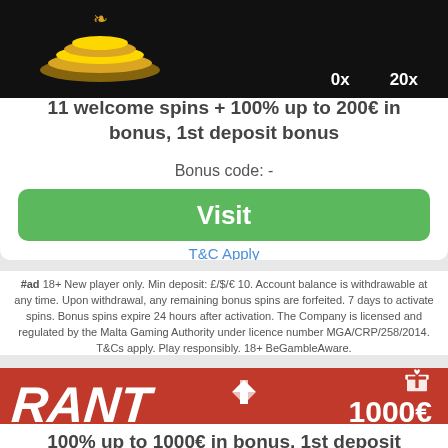[Figure (screenshot): Black banner with casino logo and coin pile graphic, showing stats 0x and 20x]
11 welcome spins + 100% up to 200€ in bonus, 1st deposit bonus
Bonus code: -
Visit
T&C Apply
#ad 18+ New player only. Min deposit: £/$/€ 10. Account balance is withdrawable at any time. Upon withdrawal, any remaining bonus spins are forfeited. 7 days to activate spins. Bonus spins expire 24 hours after activation. The Company is licensed and regulated by the Malta Gaming Authority under licence number MGA/CRP/258/2014. T&Cs apply. Play responsibly. 18+ BeGambleAware.
[Figure (logo): Rant Casino logo on red background with payment icons and bonus info: 1000€, 35x(d+b)]
100% up to 1000€ in bonus, 1st deposit